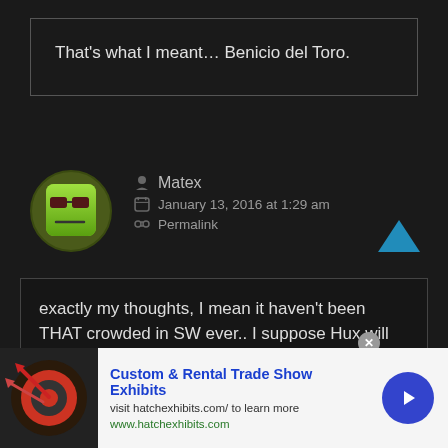That's what I meant… Benicio del Toro.
Matex
January 13, 2016 at 1:29 am
Permalink
[Figure (illustration): Avatar of user Matex — green square face with dark sunglasses]
exactly my thoughts, I mean it haven't been THAT crowded in SW ever.. I suppose Hux will take a backseat and support Ben's character, Snoke will remain in the shadows until the full reveal in IX and Kylo will be mostly passive until the final act of VIII as
Custom & Rental Trade Show Exhibits
visit hatchexhibits.com/ to learn more
www.hatchexhibits.com